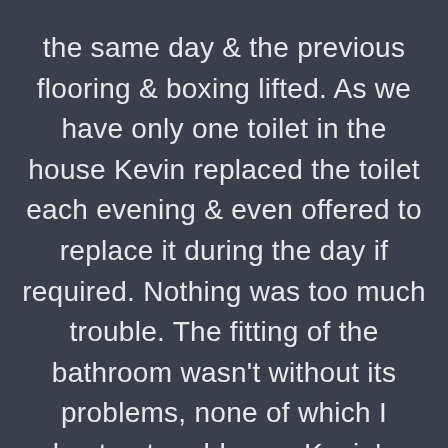the same day & the previous flooring & boxing lifted. As we have only one toilet in the house Kevin replaced the toilet each evening & even offered to replace it during the day if required. Nothing was too much trouble. The fitting of the bathroom wasn't without its problems, none of which I hasten to add were Kevin's doing. Whenever a problem arose, Kevin explained our options and